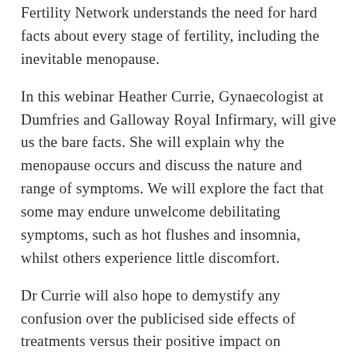Fertility Network understands the need for hard facts about every stage of fertility, including the inevitable menopause.
In this webinar Heather Currie, Gynaecologist at Dumfries and Galloway Royal Infirmary, will give us the bare facts. She will explain why the menopause occurs and discuss the nature and range of symptoms. We will explore the fact that some may endure unwelcome debilitating symptoms, such as hot flushes and insomnia, whilst others experience little discomfort.
Dr Currie will also hope to demystify any confusion over the publicised side effects of treatments versus their positive impact on everyday life for sufferers. Dr Currie is the founder and MD of Menopause Matters,
To see more about the British Menopause Socie...